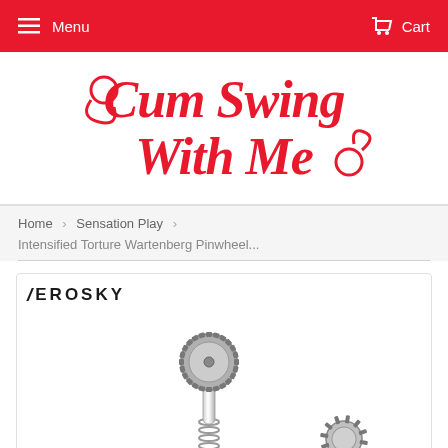Menu   Cart
[Figure (logo): Cum Swing With Me script logo in red]
Home › Sensation Play ›
Intensified Torture Wartenberg Pinwheel...
[Figure (photo): Zerosky brand Wartenberg pinwheel product photo showing chrome metal pinwheel with spiked wheel on a spring handle]